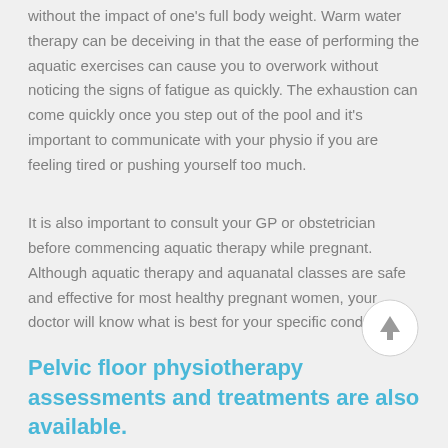without the impact of one's full body weight. Warm water therapy can be deceiving in that the ease of performing the aquatic exercises can cause you to overwork without noticing the signs of fatigue as quickly. The exhaustion can come quickly once you step out of the pool and it's important to communicate with your physio if you are feeling tired or pushing yourself too much.
It is also important to consult your GP or obstetrician before commencing aquatic therapy while pregnant. Although aquatic therapy and aquanatal classes are safe and effective for most healthy pregnant women, your doctor will know what is best for your specific condition.
Pelvic floor physiotherapy assessments and treatments are also available.